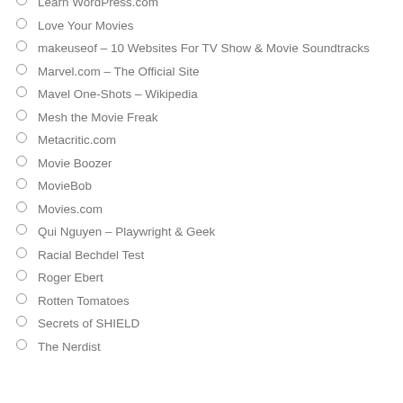Learn WordPress.com
Love Your Movies
makeuseof – 10 Websites For TV Show & Movie Soundtracks
Marvel.com – The Official Site
Mavel One-Shots – Wikipedia
Mesh the Movie Freak
Metacritic.com
Movie Boozer
MovieBob
Movies.com
Qui Nguyen – Playwright & Geek
Racial Bechdel Test
Roger Ebert
Rotten Tomatoes
Secrets of SHIELD
The Nerdist